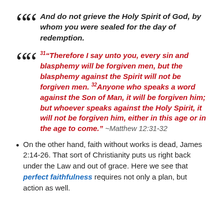And do not grieve the Holy Spirit of God, by whom you were sealed for the day of redemption.
31“Therefore I say unto you, every sin and blasphemy will be forgiven men, but the blasphemy against the Spirit will not be forgiven men. 32Anyone who speaks a word against the Son of Man, it will be forgiven him; but whoever speaks against the Holy Spirit, it will not be forgiven him, either in this age or in the age to come.” ~Matthew 12:31-32
On the other hand, faith without works is dead, James 2:14-26. That sort of Christianity puts us right back under the Law and out of grace. Here we see that perfect faithfulness requires not only a plan, but action as well.